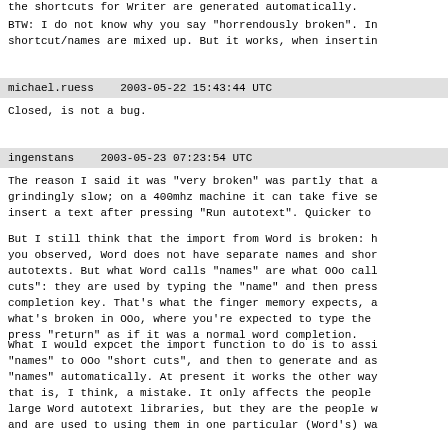the shortcuts for Writer are generated automatically.
BTW: I do not know why you say "horrendously broken". In shortcut/names are mixed up. But it works, when insertin
michael.ruess   2003-05-22 15:43:44 UTC
Closed, is not a bug.
ingenstans   2003-05-23 07:23:54 UTC
The reason I said it was "very broken" was partly that a grindingly slow; on a 400mhz machine it can take five se insert a text after pressing "Run autotext". Quicker to
But I still think that the import from Word is broken: h you observed, Word does not have separate names and shor autotexts. But what Word calls "names" are what OOo call cuts": they are used by typing the "name" and then press completion key. That's what the finger memory expects, a what's broken in OOo, where you're expected to type the press "return" as if it was a normal word completion.
What I would expcet the import function to do is to assi "names" to OOo "short cuts", and then to generate and as "names" automatically. At present it works the other way that is, I think, a mistake. It only affects the people large Word autotext libraries, but they are the people w and are used to using them in one particular (Word's) wa